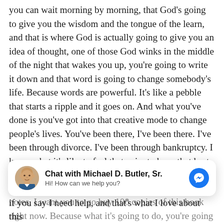you can wait morning by morning, that God's going to give you the wisdom and the tongue of the learn, and that is where God is actually going to give you an idea of thought, one of those God winks in the middle of the night that wakes you up, you're going to write it down and that word is going to change somebody's life. Because words are powerful. It's like a pebble that starts a ripple and it goes on. And what you've done is you've got into that creative mode to change people's lives. You've been there, I've been there. I've been through divorce. I've been through bankruptcy. I know what it's like to feel that pain, to have that hurt and to start over. You didn't have too big of an ego to start over. Somebody said, your ego is not your amigo if you say I need help, and that's what I love about this
[Figure (screenshot): Chat widget showing Michael D. Butler Sr. with avatar photo, name in bold, and 'Hi! How can we help you?' subtext, with a blue Messenger icon on the right.]
notes, I want you to go buy 100 copies of this book right now. Because what it's going to do, you're going